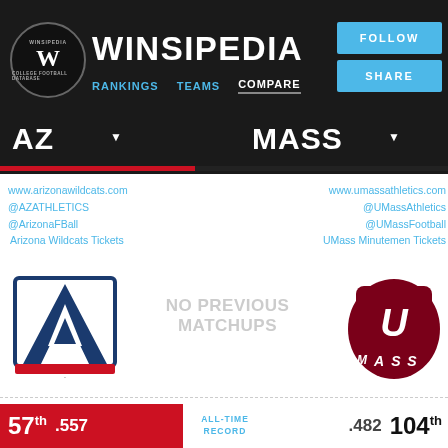[Figure (logo): Winsipedia circular logo with W]
WINSIPEDIA
RANKINGS   TEAMS   COMPARE
FOLLOW
SHARE
AZ
MASS
www.arizonawildcats.com
@AZATHLETICS
@ArizonaFBall
Arizona Wildcats Tickets
www.umassathletics.com
@UMassAthletics
@UMassFootball
UMass Minutemen Tickets
[Figure (logo): Arizona Wildcats A logo]
NO PREVIOUS MATCHUPS
[Figure (logo): UMass Minutemen logo]
ALL-TIME RECORD
57th .557
.482  104th